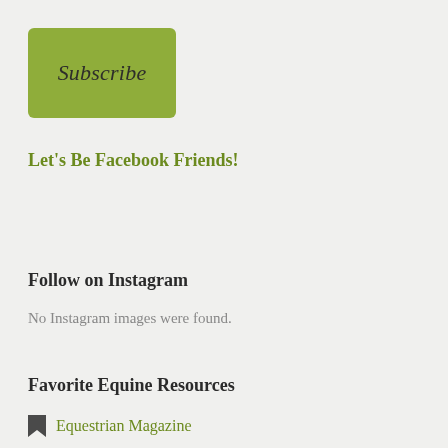[Figure (other): Green rounded rectangle button with italic text 'Subscribe']
Let's Be Facebook Friends!
Follow on Instagram
No Instagram images were found.
Favorite Equine Resources
Equestrian Magazine